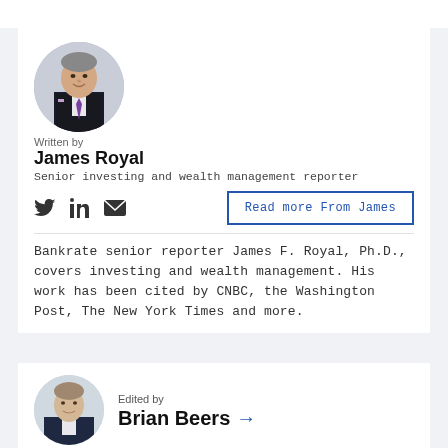[Figure (photo): Circular headshot photo of James Royal, a man in a black suit with a purple tie, smiling, with a blurred office background.]
Written by
James Royal
Senior investing and wealth management reporter
Read more From James
Bankrate senior reporter James F. Royal, Ph.D., covers investing and wealth management. His work has been cited by CNBC, the Washington Post, The New York Times and more.
[Figure (photo): Circular headshot photo of Brian Beers, a man in a suit, against a light background.]
Edited by
Brian Beers